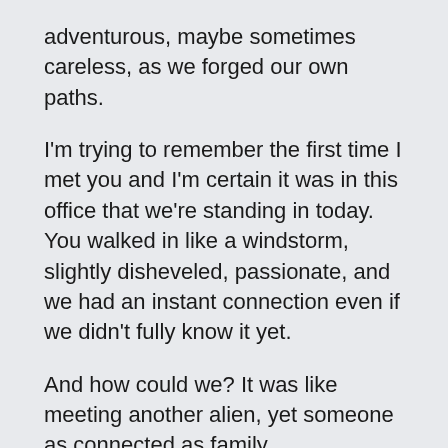adventurous, maybe sometimes careless, as we forged our own paths.
I'm trying to remember the first time I met you and I'm certain it was in this office that we're standing in today. You walked in like a windstorm, slightly disheveled, passionate, and we had an instant connection even if we didn't fully know it yet.
And how could we? It was like meeting another alien, yet someone as connected as family.
You wore a scarf wrapped around your head and you were usually coming in asking for funding for your ambitious projects that not